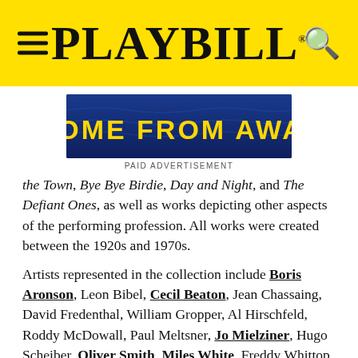PLAYBILL
[Figure (illustration): Come From Away musical advertisement banner with yellow text on blue background]
PAID ADVERTISEMENT
the Town, Bye Bye Birdie, Day and Night, and The Defiant Ones, as well as works depicting other aspects of the performing profession. All works were created between the 1920s and 1970s.
Artists represented in the collection include Boris Aronson, Leon Bibel, Cecil Beaton, Jean Chassaing, David Fredenthal, William Gropper, Al Hirschfeld, Roddy McDowall, Paul Meltsner, Jo Mielziner, Hugo Scheiber, Oliver Smith, Miles White, Freddy Whittop, Richard Whorf, Louis Wolchonok, and more.
"While I have operated Helicline Fine Art since 2008, my